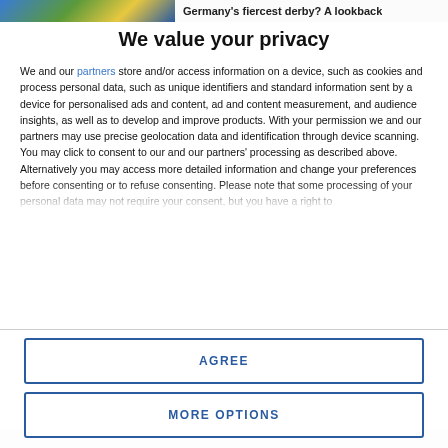[Figure (photo): Top banner showing a sports image with players (partially visible) and text 'Germany's fiercest derby? A lookback']
We value your privacy
We and our partners store and/or access information on a device, such as cookies and process personal data, such as unique identifiers and standard information sent by a device for personalised ads and content, ad and content measurement, and audience insights, as well as to develop and improve products. With your permission we and our partners may use precise geolocation data and identification through device scanning. You may click to consent to our and our partners' processing as described above. Alternatively you may access more detailed information and change your preferences before consenting or to refuse consenting. Please note that some processing of your personal data may not require your consent, but you have a right to
AGREE
MORE OPTIONS